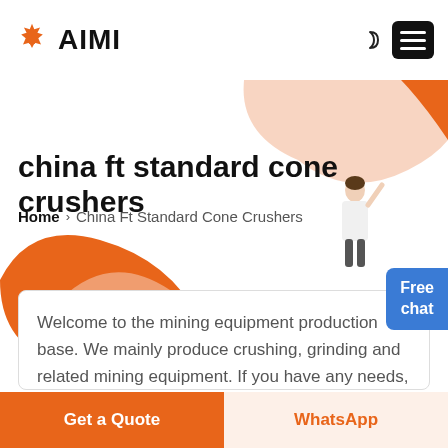AIMI
china ft standard cone crushers
Home > China Ft Standard Cone Crushers
Welcome to the mining equipment production base. We mainly produce crushing, grinding and related mining equipment. If you have any needs, you can
Get a Quote
WhatsApp